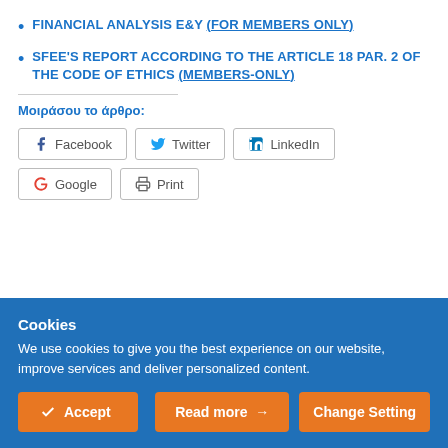FINANCIAL ANALYSIS E&Y (For members only)
SFEE'S REPORT ACCORDING TO THE ARTICLE 18 PAR. 2 OF THE CODE OF ETHICS (Members-only)
Μοιράσου το άρθρο:
[Figure (screenshot): Social share buttons: Facebook, Twitter, LinkedIn, Google, Print]
Cookies
We use cookies to give you the best experience on our website, improve services and deliver personalized content.
Accept | Read more → | Change Settings